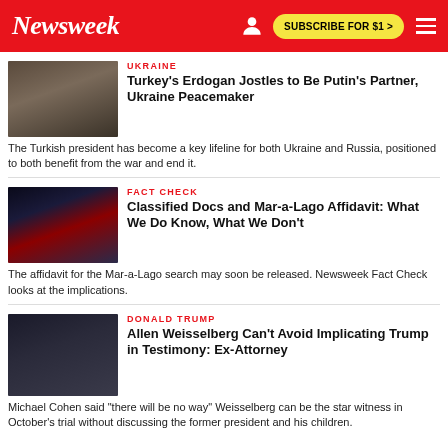Newsweek | SUBSCRIBE FOR $1 >
UKRAINE
Turkey's Erdogan Jostles to Be Putin's Partner, Ukraine Peacemaker
The Turkish president has become a key lifeline for both Ukraine and Russia, positioned to both benefit from the war and end it.
FACT CHECK
Classified Docs and Mar-a-Lago Affidavit: What We Do Know, What We Don't
The affidavit for the Mar-a-Lago search may soon be released. Newsweek Fact Check looks at the implications.
DONALD TRUMP
Allen Weisselberg Can't Avoid Implicating Trump in Testimony: Ex-Attorney
Michael Cohen said "there will be no way" Weisselberg can be the star witness in October's trial without discussing the former president and his children.